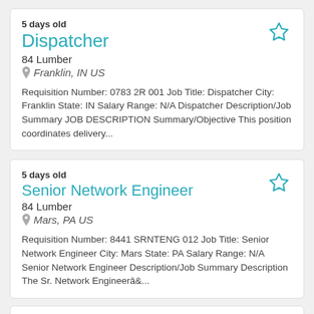5 days old
Dispatcher
84 Lumber
Franklin, IN US
Requisition Number: 0783 2R 001 Job Title: Dispatcher City: Franklin State: IN Salary Range: N/A Dispatcher Description/Job Summary JOB DESCRIPTION Summary/Objective This position coordinates delivery...
5 days old
Senior Network Engineer
84 Lumber
Mars, PA US
Requisition Number: 8441 SRNTENG 012 Job Title: Senior Network Engineer City: Mars State: PA Salary Range: N/A Senior Network Engineer Description/Job Summary Description The Sr. Network Engineerâ&...